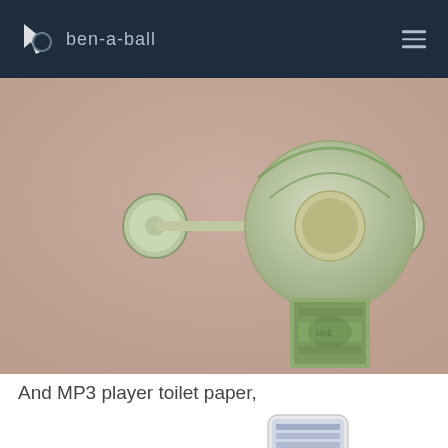ben-a-ball
[Figure (photo): A toilet paper holder mounted on a pink wall, with a roll of toilet paper styled to look like US dollar bills (green currency design on the paper).]
And MP3 player toilet paper,
[Figure (photo): Partial view of a small MP3 player / iPod-style device at the bottom right of the page.]